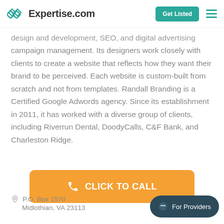Expertise.com | Get Listed
design and development, SEO, and digital advertising campaign management. Its designers work closely with clients to create a website that reflects how they want their brand to be perceived. Each website is custom-built from scratch and not from templates. Randall Branding is a Certified Google Adwords agency. Since its establishment in 2011, it has worked with a diverse group of clients, including Riverrun Dental, DoodyCalls, C&F Bank, and Charleston Ridge.
CLICK TO CALL
P.O. Box 1570
Midlothian, VA 23113
For Providers